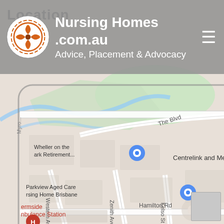[Figure (map): Google Maps screenshot showing Chermside area in Brisbane, Australia. Visible landmarks include Parkview Aged Care Nursing Home Brisbane, Wheller on the Park Retirement, Centrelink and Medicare, Westfield Chermside, Chermside Shopping Centre Pharmacy, Chermside Ambulance Station. Streets visible include Murphy Rd, The Blvd, Penny La, Western Ave, Zenith Ave, Kelso St, Hamilton Rd, Banfield. A yellow highway runs vertically through the map. Map frame is shown within a rounded rectangle overlay.]
Nursing Homes .com.au
Advice, Placement & Advocacy